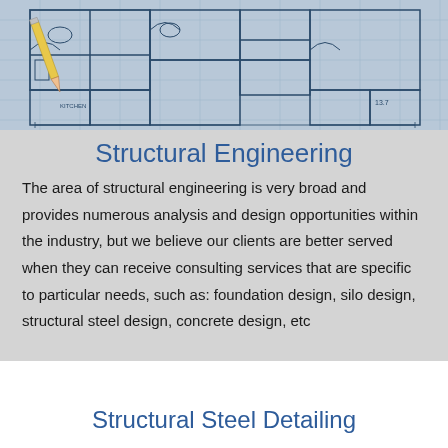[Figure (photo): Aerial view of architectural/structural blueprints with a pencil, showing floor plans and technical drawings in blue tones]
Structural Engineering
The area of structural engineering is very broad and provides numerous analysis and design opportunities within the industry, but we believe our clients are better served when they can receive consulting services that are specific to particular needs, such as: foundation design, silo design, structural steel design, concrete design, etc
Structural Steel Detailing
There is a common phrase in engineering “the devil is in the detail.” The transition from analysis and design to detailed drawings is critical to the safe execution of a